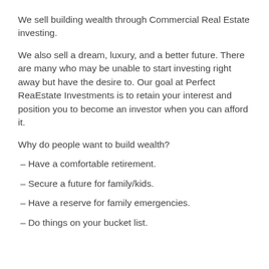We sell building wealth through Commercial Real Estate investing.
We also sell a dream, luxury, and a better future. There are many who may be unable to start investing right away but have the desire to. Our goal at Perfect ReaEstate Investments is to retain your interest and position you to become an investor when you can afford it.
Why do people want to build wealth?
- Have a comfortable retirement.
- Secure a future for family/kids.
- Have a reserve for family emergencies.
- Do things on your bucket list.